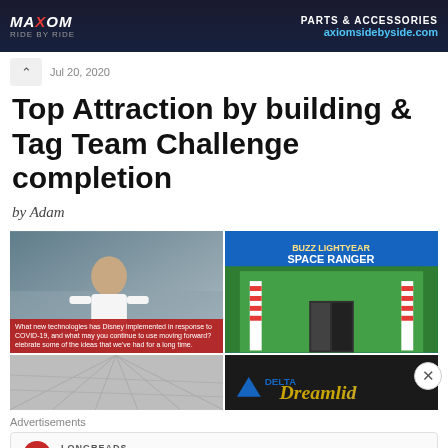[Figure (photo): Top banner advertisement for Maxim / Axiom side-by-side vehicles, with logo on left and 'Parts & Accessories' and 'axiomsidebyside.com' on right]
Jul 20, 2020
Top Attraction by building & Tag Team Challenge completion
by Adam
[Figure (photo): Composite photo: left side shows a man in white shirt speaking on video with red caption bar about Disney COVID-19 technologies; right top shows Buzz Lightyear Space Ranger Spin attraction entrance with green facade; right bottom shows Delta Dreamlid branding on dark background]
Advertisements
[Figure (other): Longreads advertisement card with circular red logo and text: Bringing you the best stories on the web since 2009.]